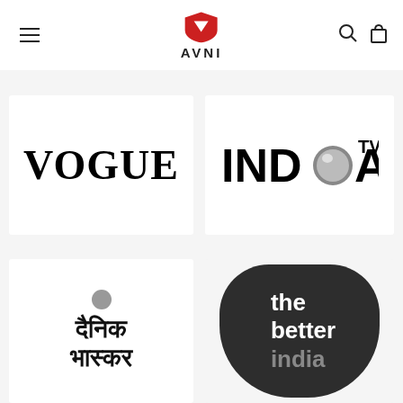AVNI (navigation header with menu, logo, search, and cart icons)
[Figure (logo): Vogue magazine logo in large serif bold black text]
[Figure (logo): India TV logo with stylized globe replacing the 'O']
[Figure (logo): Dainik Bhaskar logo in Devanagari script with decorative dot]
[Figure (logo): The Better India logo in white text on dark rounded heart shape, with 'india' in grey]